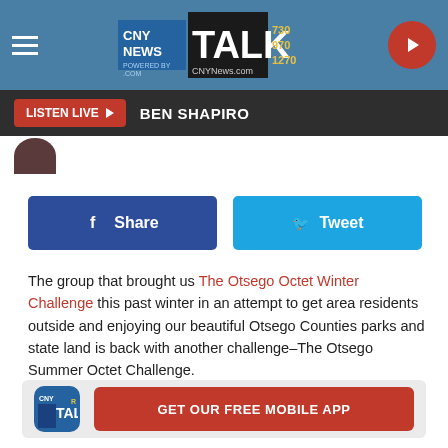[Figure (screenshot): CNY News Talk 730 970 1270 logo and navigation bar with hamburger menu and play button]
LISTEN LIVE ▶  BEN SHAPIRO
[Figure (other): Facebook Share button and Twitter Tweet button]
The group that brought us The Otsego Octet Winter Challenge this past winter in an attempt to get area residents outside and enjoying our beautiful Otsego Counties parks and state land is back with another challenge–The Otsego Summer Octet Challenge.
[Figure (other): CNY Talk app icon and GET OUR FREE MOBILE APP red button]